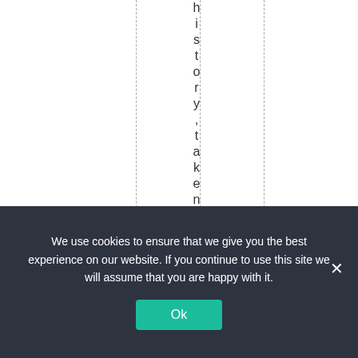history, taken to ho
We use cookies to ensure that we give you the best experience on our website. If you continue to use this site we will assume that you are happy with it.